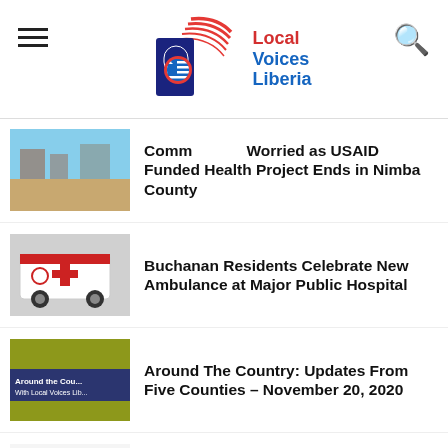Local Voices Liberia
Communities Worried as USAID Funded Health Project Ends in Nimba County
Buchanan Residents Celebrate New Ambulance at Major Public Hospital
Around The Country: Updates From Five Counties – November 20, 2020
Around The Country – Elections Updates From Four Counties – November 18, 2020
Lofa County: Major Hospital Bore Staff...